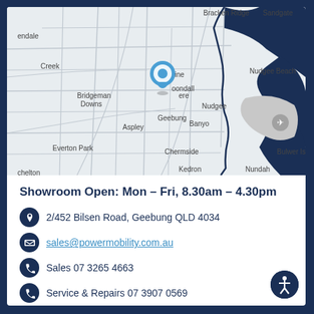[Figure (map): Street map of northern Brisbane suburbs including Carseldine, Aspley, Geebung, Chermside, Kedron, Nundah, Nudgee, Banyo, Bracken Ridge, Sandgate areas. Blue location pin marker placed over Geebung/Zillmere area.]
Showroom Open: Mon – Fri, 8.30am – 4.30pm
2/452 Bilsen Road, Geebung QLD 4034
sales@powermobility.com.au
Sales 07 3265 4663
Service & Repairs 07 3907 0569